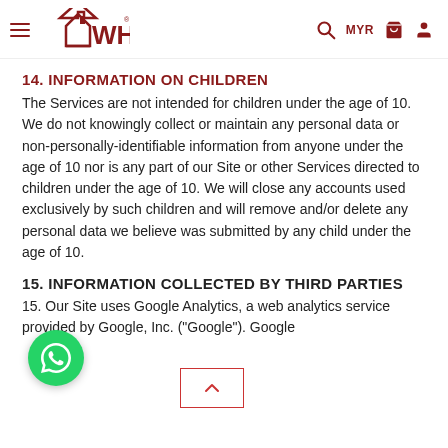WHB — Navigation bar with logo, search, MYR, cart, and user icons
14. INFORMATION ON CHILDREN
The Services are not intended for children under the age of 10. We do not knowingly collect or maintain any personal data or non-personally-identifiable information from anyone under the age of 10 nor is any part of our Site or other Services directed to children under the age of 10. We will close any accounts used exclusively by such children and will remove and/or delete any personal data we believe was submitted by any child under the age of 10.
15. INFORMATION COLLECTED BY THIRD PARTIES
15. Our Site uses Google Analytics, a web analytics service provided by Google, Inc. ("Google"). Google